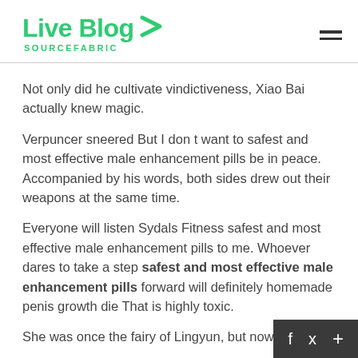Live Blog SOURCEFABRIC
Not only did he cultivate vindictiveness, Xiao Bai actually knew magic.
Verpuncer sneered But I don t want to safest and most effective male enhancement pills be in peace. Accompanied by his words, both sides drew out their weapons at the same time.
Everyone will listen Sydals Fitness safest and most effective male enhancement pills to me. Whoever dares to take a step safest and most effective male enhancement pills forward will definitely homemade penis growth die That is highly toxic.
She was once the fairy of Lingyun, but now the Q…